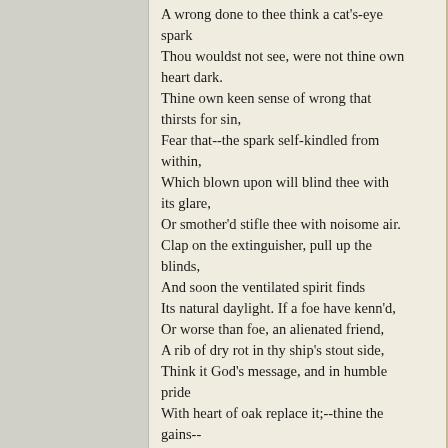A wrong done to thee think a cat's-eye spark
Thou wouldst not see, were not thine own heart dark.
Thine own keen sense of wrong that thirsts for sin,
Fear that--the spark self-kindled from within,
Which blown upon will blind thee with its glare,
Or smother'd stifle thee with noisome air.
Clap on the extinguisher, pull up the blinds,
And soon the ventilated spirit finds
Its natural daylight. If a foe have kenn'd,
Or worse than foe, an alienated friend,
A rib of dry rot in thy ship's stout side,
Think it God's message, and in humble pride
With heart of oak replace it;--thine the gains--
Give him the rotten timber for his pains!
Genevieve